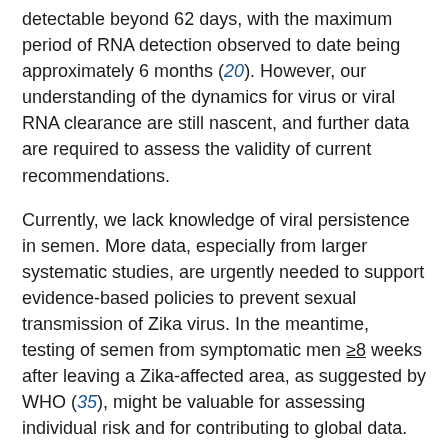detectable beyond 62 days, with the maximum period of RNA detection observed to date being approximately 6 months (20). However, our understanding of the dynamics for virus or viral RNA clearance are still nascent, and further data are required to assess the validity of current recommendations.
Currently, we lack knowledge of viral persistence in semen. More data, especially from larger systematic studies, are urgently needed to support evidence-based policies to prevent sexual transmission of Zika virus. In the meantime, testing of semen from symptomatic men ≥8 weeks after leaving a Zika-affected area, as suggested by WHO (35), might be valuable for assessing individual risk and for contributing to global data.
Dr. Atkinson is a molecular virologist at Public Health England, United Kingdom. His research interests focus on the design and development of molecular detection assays for rare and emerging high-consequence human pathogens.
Acknowledgments